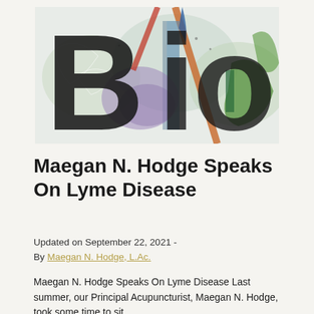[Figure (illustration): Colorful abstract artwork featuring large dark letters spelling 'Bio' overlaid on watercolor-style botanical and abstract shapes in green, purple, orange, red, and teal on a light background]
Maegan N. Hodge Speaks On Lyme Disease
Updated on September 22, 2021 - By Maegan N. Hodge, L.Ac.
Maegan N. Hodge Speaks On Lyme Disease Last summer, our Principal Acupuncturist, Maegan N. Hodge, took some time to sit